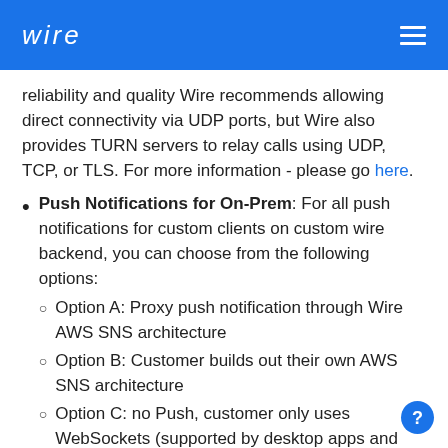wire
reliability and quality Wire recommends allowing direct connectivity via UDP ports, but Wire also provides TURN servers to relay calls using UDP, TCP, or TLS. For more information - please go here.
Push Notifications for On-Prem: For all push notifications for custom clients on custom wire backend, you can choose from the following options:
Option A: Proxy push notification through Wire AWS SNS architecture
Option B: Customer builds out their own AWS SNS architecture
Option C: no Push, customer only uses WebSockets (supported by desktop apps and Android apps, but not iOS apps)